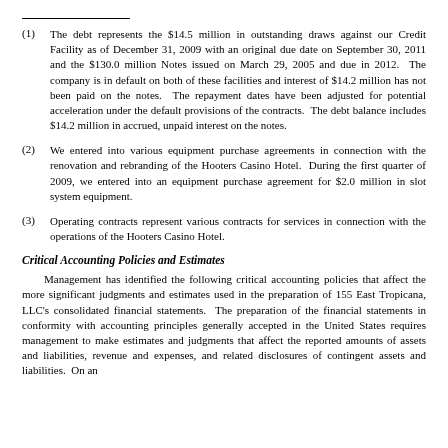(1) The debt represents the $14.5 million in outstanding draws against our Credit Facility as of December 31, 2009 with an original due date on September 30, 2011 and the $130.0 million Notes issued on March 29, 2005 and due in 2012. The company is in default on both of these facilities and interest of $14.2 million has not been paid on the notes. The repayment dates have been adjusted for potential acceleration under the default provisions of the contracts. The debt balance includes $14.2 million in accrued, unpaid interest on the notes.
(2) We entered into various equipment purchase agreements in connection with the renovation and rebranding of the Hooters Casino Hotel. During the first quarter of 2009, we entered into an equipment purchase agreement for $2.0 million in slot system equipment.
(3) Operating contracts represent various contracts for services in connection with the operations of the Hooters Casino Hotel.
Critical Accounting Policies and Estimates
Management has identified the following critical accounting policies that affect the more significant judgments and estimates used in the preparation of 155 East Tropicana, LLC's consolidated financial statements. The preparation of the financial statements in conformity with accounting principles generally accepted in the United States requires management to make estimates and judgments that affect the reported amounts of assets and liabilities, revenue and expenses, and related disclosures of contingent assets and liabilities. On an